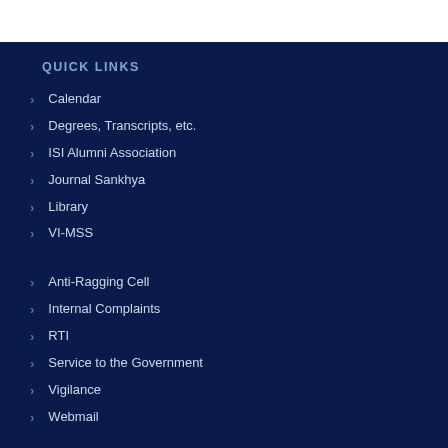QUICK LINKS
Calendar
Degrees, Transcripts, etc.
ISI Alumni Association
Journal Sankhya
Library
VI-MSS
Anti-Ragging Cell
Internal Complaints
RTI
Service to the Government
Vigilance
Webmail